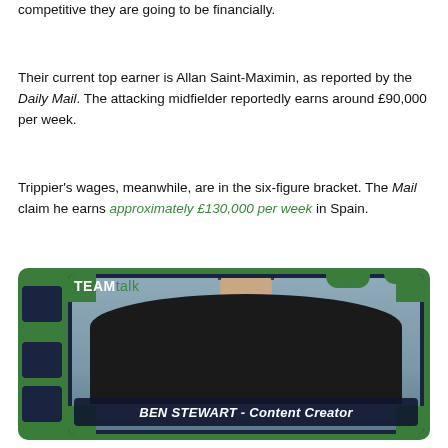competitive they are going to be financially.
Their current top earner is Allan Saint-Maximin, as reported by the Daily Mail. The attacking midfielder reportedly earns around £90,000 per week.
Trippier's wages, meanwhile, are in the six-figure bracket. The Mail claim he earns approximately £130,000 per week in Spain.
[Figure (screenshot): TEAMtalk video screenshot showing Ben Stewart, Content Creator, with green and dark navy branded frame overlay]
BEN STEWART - Content Creator